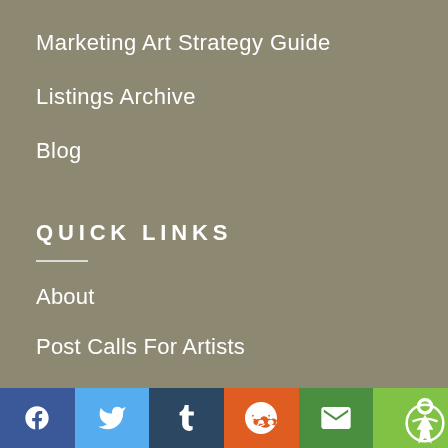Marketing Art Strategy Guide
Listings Archive
Blog
QUICK LINKS
About
Post Calls For Artists
How To Write A Call For Artists
Terms of Use & Privacy Policy
Social share bar: Facebook, Twitter, Tumblr, Reddit, Mail, Accessibility